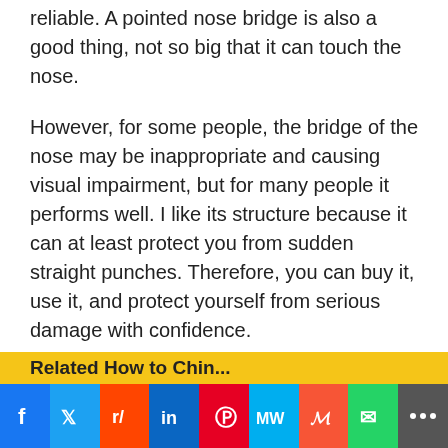reliable. A pointed nose bridge is also a good thing, not so big that it can touch the nose.
However, for some people, the bridge of the nose may be inappropriate and causing visual impairment, but for many people it performs well. I like its structure because it can at least protect you from sudden straight punches. Therefore, you can buy it, use it, and protect yourself from serious damage with confidence.
Related How to Chin...
[Figure (infographic): Social media share bar with buttons for Facebook, Twitter, Reddit, LinkedIn, Pinterest, MixW, Mix, WhatsApp, and More]